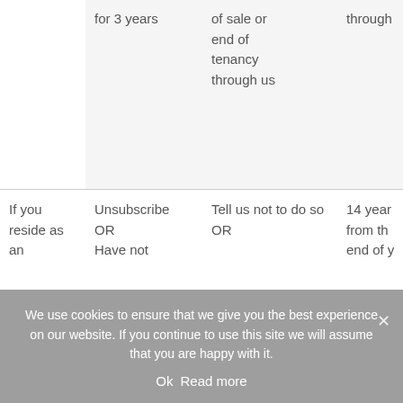|  | for 3 years | of sale or end of tenancy through us | through |
| --- | --- | --- | --- |
| If you reside as an | Unsubscribe OR Have not | Tell us not to do so OR | 14 year from th end of |
We use cookies to ensure that we give you the best experience on our website. If you continue to use this site we will assume that you are happy with it.
Ok   Read more